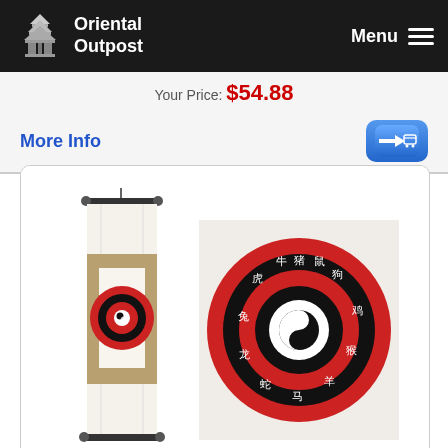Oriental Outpost  Menu
Your Price: $54.88
More Info
[Figure (photo): Two images of an Asian Zodiac Animal Symbols Wall Scroll: left shows the full wall scroll with cream background and brown border panel displaying a circular red zodiac design; right shows a close-up of the circular zodiac design with Chinese characters and animal symbols around a yin-yang center on a red background.]
Asian Zodiac Animal Symbols Wall Scroll
Gallery Price: $80.00
Your Price: $29.88